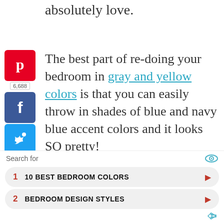absolutely love.
The best part of re-doing your bedroom in gray and yellow colors is that you can easily throw in shades of blue and navy blue accent colors and it looks SO pretty!
[Figure (screenshot): Social media sharing sidebar with Pinterest (red, showing 6,688 pins), Facebook (blue), and Twitter (blue) buttons]
[Figure (illustration): Gray & Yellow Bedroom promotional image with dark navy background and yellow text]
[Figure (other): Scroll-to-top button with upward arrow on dark gray background]
Search for
1  10 BEST BEDROOM COLORS
2  BEDROOM DESIGN STYLES